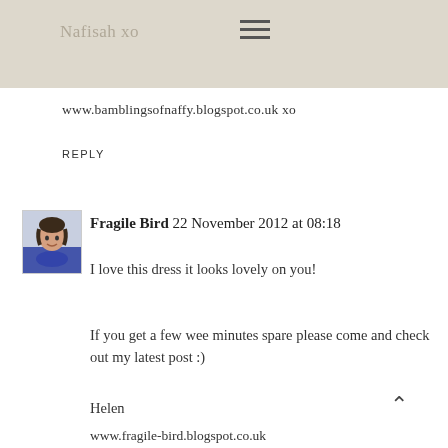Nafisah xo
www.bamblingsofnaffy.blogspot.co.uk xo
REPLY
Fragile Bird 22 November 2012 at 08:18
I love this dress it looks lovely on you!
If you get a few wee minutes spare please come and check out my latest post :)
Helen
www.fragile-bird.blogspot.co.uk